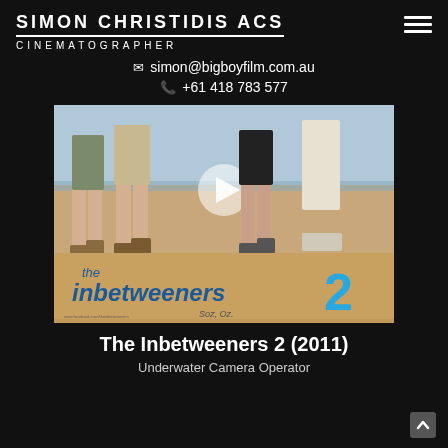SIMON CHRISTIDIS ACS
CINEMATOGRAPHER
simon@bigboyfilm.com.au
+61 418 783 577
[Figure (photo): Movie poster for 'The Inbetweeners 2' showing four people's legs walking on a beach, with the film title prominently displayed in blue letters and tagline 'Soz, Oz.']
The Inbetweeners 2 (2011)
Underwater Camera Operator